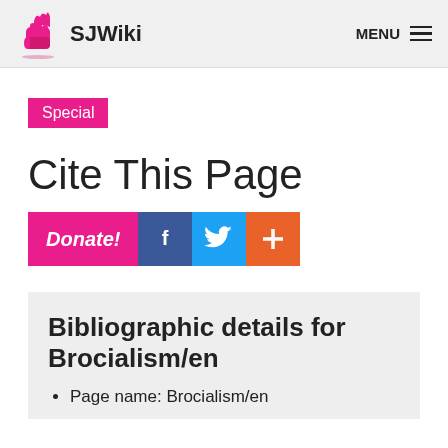SJWiki  MENU
Special
Cite This Page
[Figure (other): Action buttons: Donate! button (pink), Facebook button (blue with f), Twitter button (blue with bird), plus button (orange)]
Bibliographic details for Brocialism/en
Page name: Brocialism/en